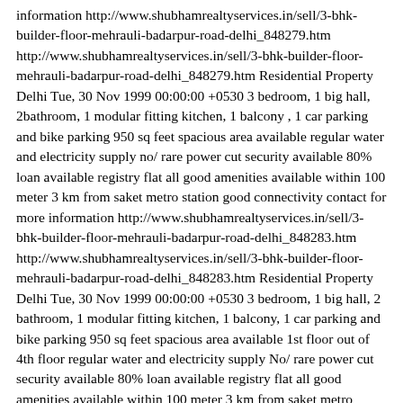information http://www.shubhamrealtyservices.in/sell/3-bhk-builder-floor-mehrauli-badarpur-road-delhi_848279.htm http://www.shubhamrealtyservices.in/sell/3-bhk-builder-floor-mehrauli-badarpur-road-delhi_848279.htm Residential Property Delhi Tue, 30 Nov 1999 00:00:00 +0530 3 bedroom, 1 big hall, 2bathroom, 1 modular fitting kitchen, 1 balcony , 1 car parking and bike parking 950 sq feet spacious area available regular water and electricity supply no/ rare power cut security available 80% loan available registry flat all good amenities available within 100 meter 3 km from saket metro station good connectivity contact for more information http://www.shubhamrealtyservices.in/sell/3-bhk-builder-floor-mehrauli-badarpur-road-delhi_848283.htm http://www.shubhamrealtyservices.in/sell/3-bhk-builder-floor-mehrauli-badarpur-road-delhi_848283.htm Residential Property Delhi Tue, 30 Nov 1999 00:00:00 +0530 3 bedroom, 1 big hall, 2 bathroom, 1 modular fitting kitchen, 1 balcony, 1 car parking and bike parking 950 sq feet spacious area available 1st floor out of 4th floor regular water and electricity supply No/ rare power cut security available 80% loan available registry flat all good amenities available within 100 meter 3 km from saket metro station good connectivity contact for more information http://www.shubhamrealtyservices.in/sell/1-bhk-builder-floor-devli-export-enclave-delhi_848509.htm http://www.shubhamrealtyservices.in/sell/1-bhk-builder-floor-devli-export-enclave-delhi_848509.htm Residential Property Delhi